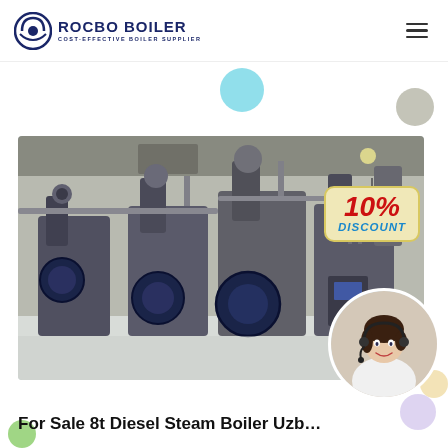[Figure (logo): ROCBO BOILER logo with crescent/globe icon and tagline COST-EFFECTIVE BOILER SUPPLIER]
[Figure (photo): Industrial boiler room with multiple large diesel steam boilers in a gray facility, with a 10% DISCOUNT badge overlay and a customer service representative in a circular inset]
For Sale 8t Diesel Steam Boiler Uzb…